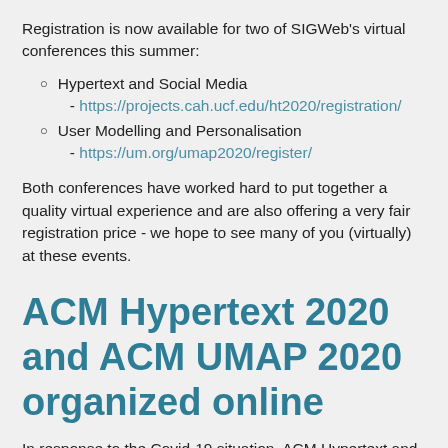Registration is now available for two of SIGWeb's virtual conferences this summer:
Hypertext and Social Media
 - https://projects.cah.ucf.edu/ht2020/registration/
User Modelling and Personalisation
 - https://um.org/umap2020/register/
Both conferences have worked hard to put together a quality virtual experience and are also offering a very fair registration price - we hope to see many of you (virtually) at these events.
ACM Hypertext 2020 and ACM UMAP 2020 organized online
In response to the Covid-19 situation, ACM Hypertext and